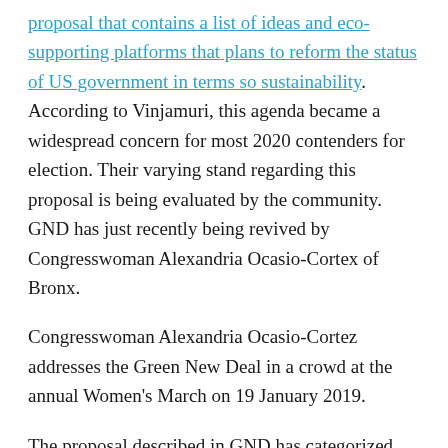proposal that contains a list of ideas and eco-supporting platforms that plans to reform the status of US government in terms so sustainability. According to Vinjamuri, this agenda became a widespread concern for most 2020 contenders for election. Their varying stand regarding this proposal is being evaluated by the community. GND has just recently being revived by Congresswoman Alexandria Ocasio-Cortex of Bronx.
Congresswoman Alexandria Ocasio-Cortez addresses the Green New Deal in a crowd at the annual Women's March on 19 January 2019.
The proposal described in GND has categorized certain issues and plausible actions toward them. This project was estimated to cost around $1 trillion.